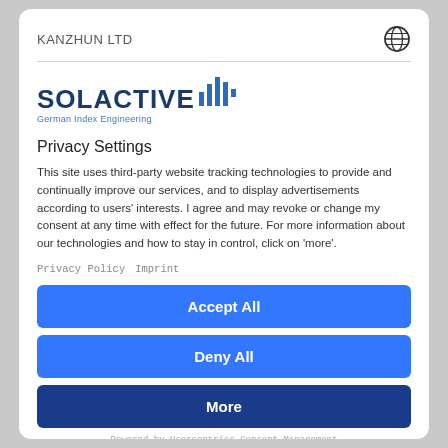KANZHUN LTD
[Figure (logo): Solactive logo with bar chart icon and tagline 'German Index Engineering']
Privacy Settings
This site uses third-party website tracking technologies to provide and continually improve our services, and to display advertisements according to users' interests. I agree and may revoke or change my consent at any time with effect for the future. For more information about our technologies and how to stay in control, click on 'more'.
Privacy Policy   Imprint
Accept All
Deny All
More
Powered by Usercentrics Consent Management